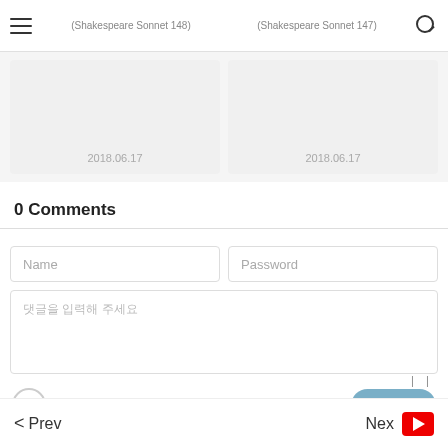≡  (Shakespeare Sonnet 148)   (Shakespeare Sonnet 147)  🔍
[Figure (other): Two gray card thumbnails side by side, each showing date 2018.06.17]
0 Comments
Name field input box
Password field input box
댓글을 입력해 주세요 (placeholder text area)
Secret
Send
< Prev    Next ▶